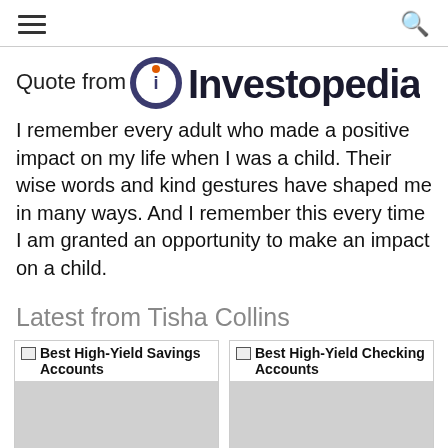Investopedia
Quote from Investopedia
I remember every adult who made a positive impact on my life when I was a child. Their wise words and kind gestures have shaped me in many ways. And I remember this every time I am granted an opportunity to make an impact on a child.
Latest from Tisha Collins
[Figure (other): Article card thumbnail for Best High-Yield Savings Accounts]
Best High-Yield Savings Accounts
[Figure (other): Article card thumbnail for Best High-Yield Checking Accounts]
Best High-Yield Checking Accounts